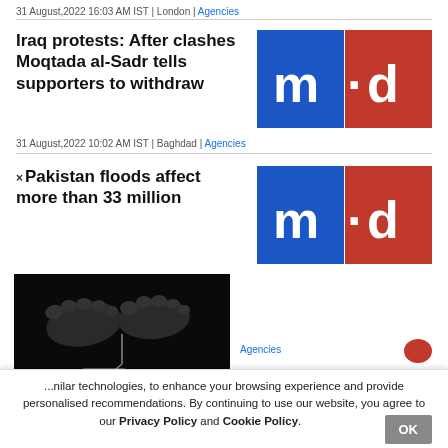31 August,2022 16:03 AM IST | London | Agencies
Iraq protests: After clashes Moqtada al-Sadr tells supporters to withdraw
[Figure (logo): m-d logo with blue and red squares]
31 August,2022 10:02 AM IST | Baghdad | Agencies
Pakistan floods affect more than 33 million
[Figure (logo): m-d logo with blue and red squares]
[Figure (photo): Black and white photo of feet with a toe tag]
Agencies
...nilar technologies, to enhance your browsing experience and provide personalised recommendations. By continuing to use our website, you agree to our Privacy Policy and Cookie Policy.